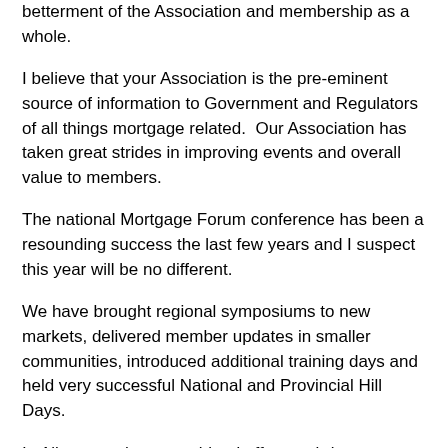betterment of the Association and membership as a whole.
I believe that your Association is the pre-eminent source of information to Government and Regulators of all things mortgage related.  Our Association has taken great strides in improving events and overall value to members.
The national Mortgage Forum conference has been a resounding success the last few years and I suspect this year will be no different.
We have brought regional symposiums to new markets, delivered member updates in smaller communities, introduced additional training days and held very successful National and Provincial Hill Days.
In Alberta we have combined efforts to bring to our members and sponsors inclusive and valuable events with streamlined efforts and cost savings.  We have also collaborated and coordinated GR and advocacy efforts.
In Quebec we have grown membership to record levels and